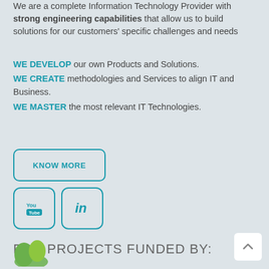We are a complete Information Technology Provider with strong engineering capabilities that allow us to build solutions for our customers' specific challenges and needs
WE DEVELOP our own Products and Solutions.
WE CREATE methodologies and Services to align IT and Business.
WE MASTER the most relevant IT Technologies.
[Figure (other): KNOW MORE button with teal border and teal text]
[Figure (other): YouTube and LinkedIn social media icon buttons with teal border]
R&D PROJECTS FUNDED BY:
[Figure (logo): Partial green logo at bottom left]
[Figure (other): Back to top button with upward chevron arrow, white background]